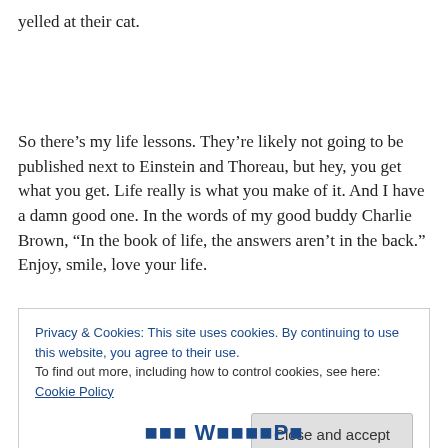yelled at their cat.
So there’s my life lessons. They’re likely not going to be published next to Einstein and Thoreau, but hey, you get what you get. Life really is what you make of it. And I have a damn good one. In the words of my good buddy Charlie Brown, “In the book of life, the answers aren’t in the back.” Enjoy, smile, love your life.
Privacy & Cookies: This site uses cookies. By continuing to use this website, you agree to their use.
To find out more, including how to control cookies, see here: Cookie Policy
Close and accept